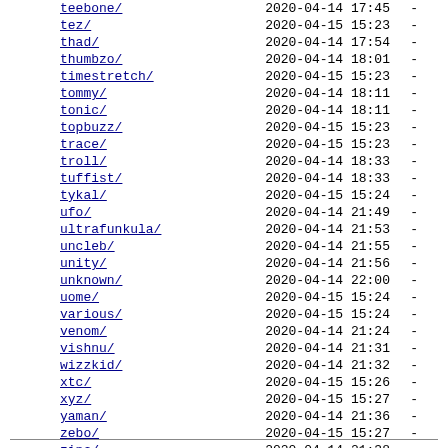| Name | Date | Size |
| --- | --- | --- |
| teebone/ | 2020-04-14 17:45 | - |
| tez/ | 2020-04-15 15:23 | - |
| thad/ | 2020-04-14 17:54 | - |
| thumbzo/ | 2020-04-14 18:01 | - |
| timestretch/ | 2020-04-15 15:23 | - |
| tommy/ | 2020-04-14 18:11 | - |
| tonic/ | 2020-04-14 18:11 | - |
| topbuzz/ | 2020-04-15 15:23 | - |
| trace/ | 2020-04-15 15:23 | - |
| troll/ | 2020-04-14 18:33 | - |
| tuffist/ | 2020-04-14 18:33 | - |
| tykal/ | 2020-04-15 15:24 | - |
| ufo/ | 2020-04-14 21:49 | - |
| ultrafunkula/ | 2020-04-14 21:53 | - |
| uncleb/ | 2020-04-14 21:55 | - |
| unity/ | 2020-04-14 21:56 | - |
| unknown/ | 2020-04-14 22:00 | - |
| uome/ | 2020-04-15 15:24 | - |
| various/ | 2020-04-15 15:24 | - |
| venom/ | 2020-04-14 21:24 | - |
| vishnu/ | 2020-04-14 21:31 | - |
| wizzkid/ | 2020-04-14 21:32 | - |
| xtc/ | 2020-04-15 15:26 | - |
| xyz/ | 2020-04-15 15:27 | - |
| yaman/ | 2020-04-14 21:36 | - |
| zebo/ | 2020-04-15 15:27 | - |
| zinc/ | 2020-04-14 21:38 | - |
| zvi/ | 2020-04-14 21:41 | - |